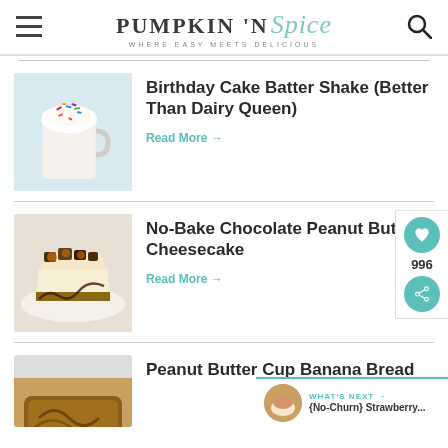PUMPKIN 'N Spice — WHERE EASY MEETS DELICIOUS
[Figure (photo): Birthday cake batter milkshake in a glass mug topped with whipped cream and rainbow sprinkles]
Birthday Cake Batter Shake (Better Than Dairy Queen)
Read More →
[Figure (photo): No-Bake Chocolate Peanut Butter Cheesecake slice on a plate with chocolate drizzle and peanut butter cup pieces]
No-Bake Chocolate Peanut Butter Cheesecake
Read More →
[Figure (photo): Peanut Butter Cup Banana Bread loaf, partially visible at bottom]
Peanut Butter Cup Banana Bread